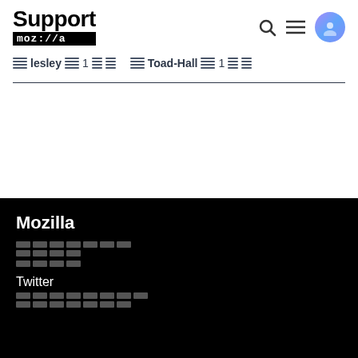Support moz://a
lesley 1 [redacted] Toad-Hall 1 [redacted]
Mozilla
[redacted links]
Twitter
[redacted links]